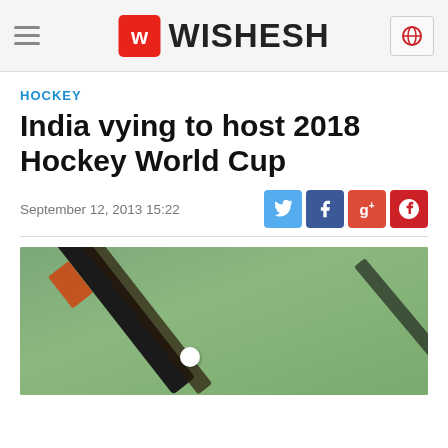WISHESH
HOCKEY
India vying to host 2018 Hockey World Cup
September 12, 2013 15:22
[Figure (photo): Close-up photo of a field hockey stick and ball on a green turf surface]